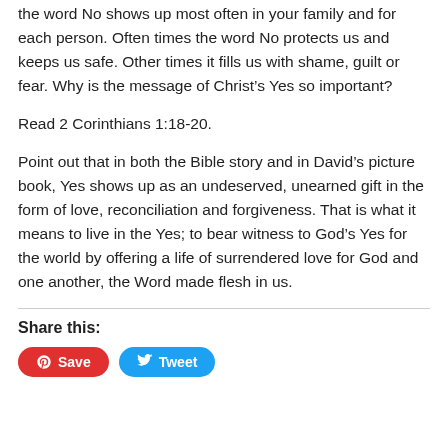Read David Shannon's book together. Talk about where the word No shows up most often in your family and for each person. Often times the word No protects us and keeps us safe. Other times it fills us with shame, guilt or fear. Why is the message of Christ's Yes so important?
Read 2 Corinthians 1:18-20.
Point out that in both the Bible story and in David's picture book, Yes shows up as an undeserved, unearned gift in the form of love, reconciliation and forgiveness. That is what it means to live in the Yes; to bear witness to God's Yes for the world by offering a life of surrendered love for God and one another, the Word made flesh in us.
Share this: